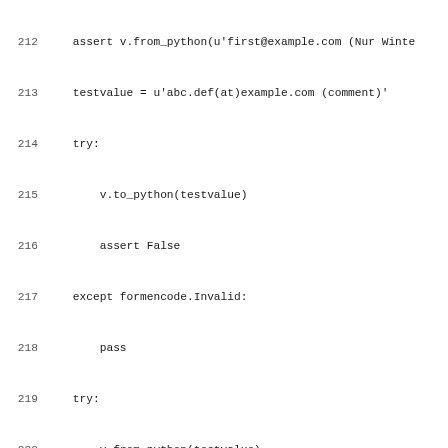Source code listing lines 212-243
212    assert v.from_python(u'first@example.com (Nur Winte
213    testvalue = u'abc.def(at)example.com (comment)'
214    try:
215        v.to_python(testvalue)
216        assert False
217    except formencode.Invalid:
218        pass
219    try:
220        v.from_python(testvalue)
221        assert False
222    except formencode.Invalid:
223        pass
224    v = wrpylib.wrvalidators.EmailCommentListNeinLoopNo
225    assert v.to_python(testvalue) == testvalue
226    assert v.from_python(testvalue) == testvalue
227
228
229 # test_WikiPage
230
231
232 # test_WikiPageList
233
234
235 def test_WikiPageListLoopNone():
236     v = wrpylib.wrvalidators.WikiPageListLoopNone()
237     assert v.to_python(u'') == None
238     assert v.to_python(u'[[Birgitzer Alm]]; [[Kemater A
239     assert v.from_python(None) == u''
240     assert v.from_python(u'[[Birgitzer Alm]]; [[Kemater
241
242
243 # test_TupleSecondValidator